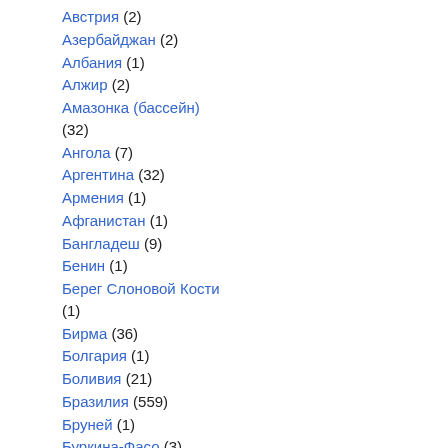Австрия (2)
Азербайджан (2)
Албания (1)
Алжир (2)
Амазонка (бассейн) (32)
Ангола (7)
Аргентина (32)
Армения (1)
Афганистан (1)
Бангладеш (9)
Бенин (1)
Берег Слоновой Кости (1)
Бирма (36)
Болгария (1)
Боливия (21)
Бразилия (559)
Бруней (1)
Буркина-Фасо (3)
Бурунди (2)
Бутан (3)